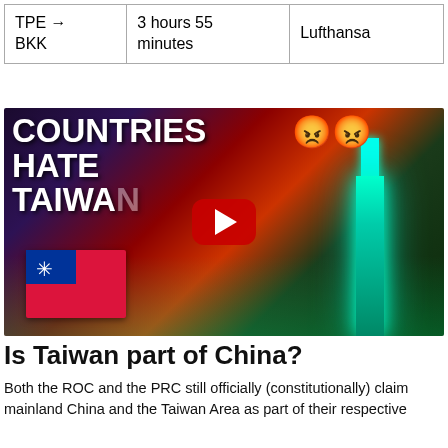| TPE → BKK | 3 hours 55 minutes | Lufthansa |
[Figure (screenshot): YouTube video thumbnail with text 'COUNTRIES HATE TAIWAN' overlaid in large bold white font, two angry emoji faces, a YouTube play button, a Taiwan flag, and a stylized neon cityscape with Taipei 101 in the background.]
Is Taiwan part of China?
Both the ROC and the PRC still officially (constitutionally) claim mainland China and the Taiwan Area as part of their respective territories, while the PRC also claims...